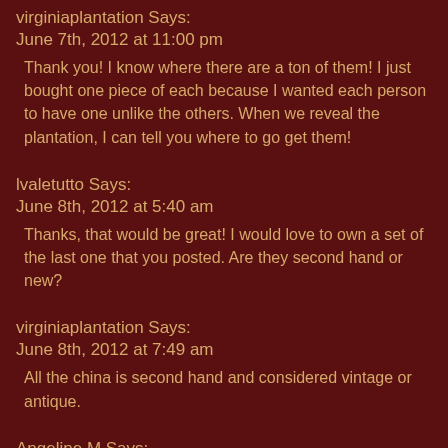virginiaplantation Says:
June 7th, 2012 at 11:00 pm
Thank you! I know where there are a ton of them! I just bought one piece of each because I wanted each person to have one unlike the others. When we reveal the plantation, I can tell you where to go get them!
lvaletutto Says:
June 8th, 2012 at 5:40 am
Thanks, that would be great! I would love to own a set of the last one that you posted. Are they second hand or new?
virginiaplantation Says:
June 8th, 2012 at 7:49 am
All the china is second hand and considered vintage or antique.
Angeline M Says:
June 7th, 2012 at 9:38 am